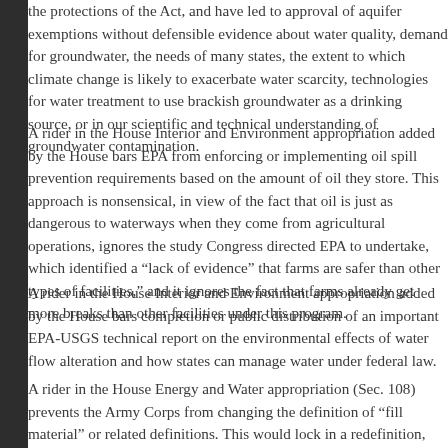the protections of the Act, and have led to approval of aquifer exemptions without defensible evidence about water quality, demand for groundwater, the needs of many states, the extent to which climate change is likely to exacerbate water scarcity, technologies for water treatment to use brackish groundwater as a drinking source, or in our scientific and technical understanding of groundwater contamination.
A rider in the House Interior and Environment appropriation added by the House bars EPA from enforcing or implementing oil spill prevention requirements based on the amount of oil they store. This approach is nonsensical, in view of the fact that oil is just as dangerous to waterways when they come from agricultural operations, ignores the study Congress directed EPA to undertake, which identified a "lack of evidence" that farms are safer than other types of facilities," and it ignores the fact that farms already get more breaks than other facilities under this program.
A rider in the House Interior and Environment appropriation added by the House bars completion or public distribution of an important EPA-USGS technical report on the environmental effects of water flow alteration and how states can manage water under federal law.
A rider in the House Energy and Water appropriation (Sec. 108) prevents the Army Corps from changing the definition of "fill material" or related definitions. This would lock in a redefinition, which treated all kinds of solid material, except garbage, as fill, removing the limitation on discharging other material primarily for the purpose of go